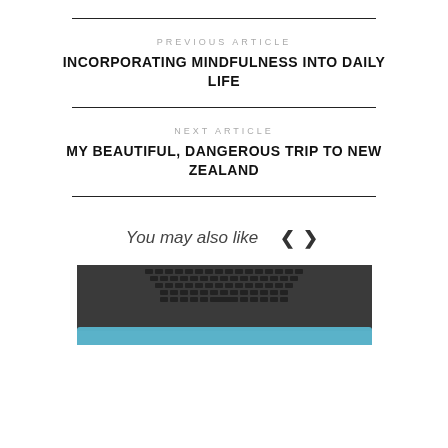PREVIOUS ARTICLE
INCORPORATING MINDFULNESS INTO DAILY LIFE
NEXT ARTICLE
MY BEAUTIFUL, DANGEROUS TRIP TO NEW ZEALAND
You may also like
[Figure (photo): Laptop keyboard with a blue surgical mask resting in front of it]